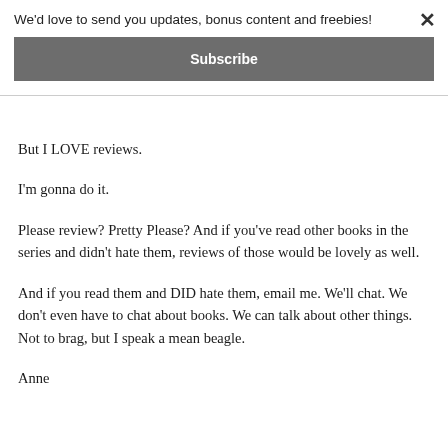We'd love to send you updates, bonus content and freebies!
Subscribe
But I LOVE reviews.
I'm gonna do it.
Please review? Pretty Please? And if you've read other books in the series and didn't hate them, reviews of those would be lovely as well.
And if you read them and DID hate them, email me. We'll chat. We don't even have to chat about books. We can talk about other things. Not to brag, but I speak a mean beagle.
Anne